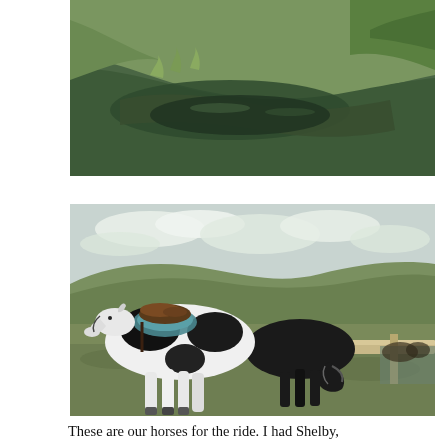[Figure (photo): Aerial or elevated view of a winding river or stream with green grassy banks and shrubs/trees. The water appears dark green-brown. Rural New Zealand landscape.]
[Figure (photo): Two horses standing on grass with saddles on — one black-and-white paint horse with a teal saddle pad and brown saddle, and a dark horse leaning down to eat grass near a wooden fence rail. Rolling green hills and a partly cloudy sky in the background.]
These are our horses for the ride. I had Shelby,